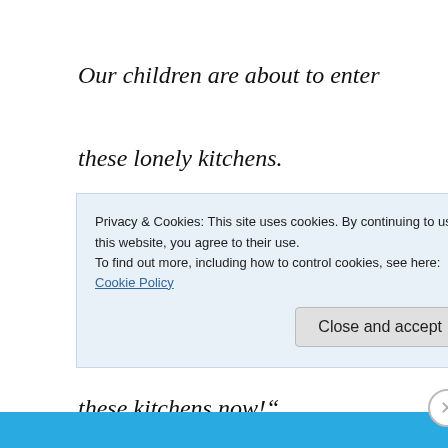Our children are about to enter
these lonely kitchens.
Come, for their sake,
Let's demolish
these kitchens now!“
Privacy & Cookies: This site uses cookies. By continuing to use this website, you agree to their use.
To find out more, including how to control cookies, see here: Cookie Policy
Close and accept